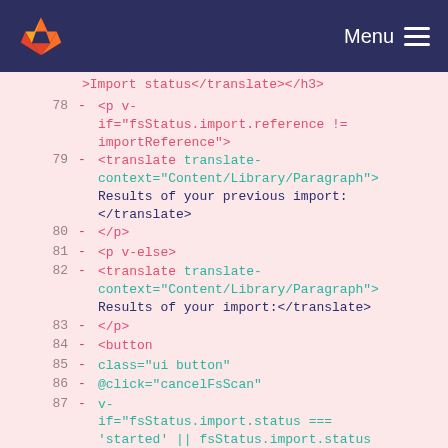[Figure (screenshot): GitLab navigation bar with fox logo and hamburger menu]
Code diff view showing lines 78-87 of a Vue template file with HTML/template syntax including translate components, p tags with v-if/v-else conditions, and button element